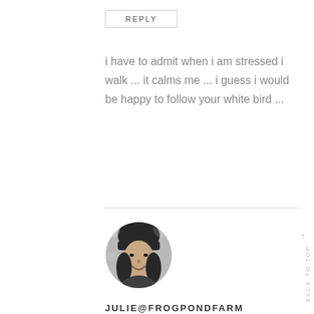REPLY
i have to admit when i am stressed i walk ... it calms me ... i guess i would be happy to follow your white bird ...
[Figure (photo): Black and white circular avatar photo of a woman with dark hair and bangs, smiling]
JULIE@FROGPONDFARM
November 27, 2015
REPLY
Hey V I love your work ..clever girl. this is such a special piece. I want one more than ever.. I Hug lovely
BACK TO TOP